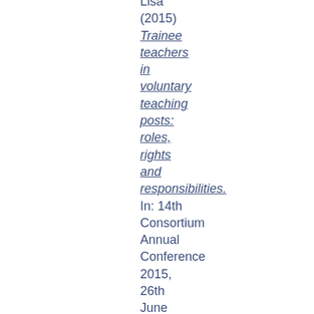Lisa (2015) Trainee teachers in voluntary teaching posts: roles, rights and responsibilities. In: 14th Consortium Annual Conference 2015, 26th June 2015, University